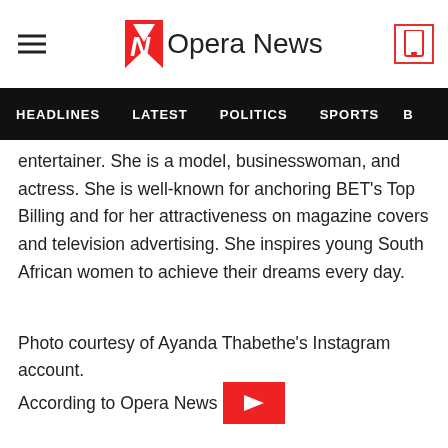Opera News
HEADLINES  LATEST  POLITICS  SPORTS
entertainer. She is a model, businesswoman, and actress. She is well-known for anchoring BET's Top Billing and for her attractiveness on magazine covers and television advertising. She inspires young South African women to achieve their dreams every day.
Photo courtesy of Ayanda Thabethe's Instagram account.
According to Opera News